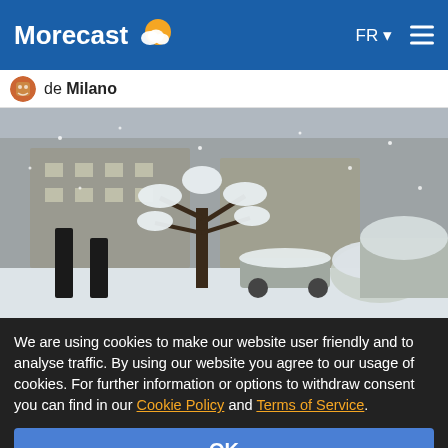Morecast
de Milano
[Figure (photo): Snow-covered trees, bushes, and a parked car in an urban setting with an apartment building in the background. Heavy snowfall scene in Milano.]
We are using cookies to make our website user friendly and to analyse traffic. By using our website you agree to our usage of cookies. For further information or options to withdraw consent you can find in our Cookie Policy and Terms of Service.
OK
More information